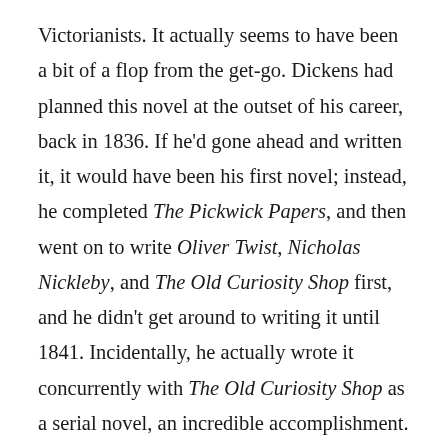Victorianists. It actually seems to have been a bit of a flop from the get-go. Dickens had planned this novel at the outset of his career, back in 1836. If he'd gone ahead and written it, it would have been his first novel; instead, he completed The Pickwick Papers, and then went on to write Oliver Twist, Nicholas Nickleby, and The Old Curiosity Shop first, and he didn't get around to writing it until 1841. Incidentally, he actually wrote it concurrently with The Old Curiosity Shop as a serial novel, an incredible accomplishment. Perhaps this accounts for Rudge's lack of popularity; The Old Curiosity Shop was extremely popular. Indeed, the first thing one reads about it in its Wikipedia entry is that New Yorkers stood on the docks of the city waiting for the final installment of the novel to be delivered by